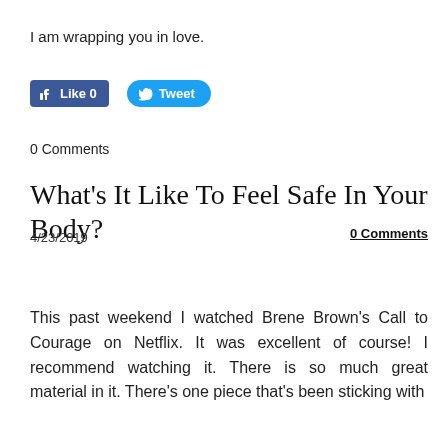I am wrapping you in love.
[Figure (screenshot): Social sharing buttons: Facebook Like (0) and Tweet buttons]
0 Comments
What's It Like To Feel Safe In Your Body?
4/23/2019
0 Comments
This past weekend I watched Brene Brown's Call to Courage on Netflix. It was excellent of course! I recommend watching it. There is so much great material in it. There's one piece that's been sticking with